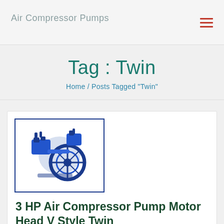Air Compressor Pumps
Tag : Twin
Home / Posts Tagged "Twin"
[Figure (illustration): Blue air compressor pump motor head V style twin, shown in a box with a dark blue border]
3 HP Air Compressor Pump Motor Head V Style Twin